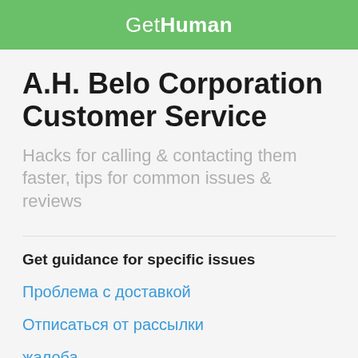GetHuman
A.H. Belo Corporation Customer Service
Hacks for calling & contacting them faster, tips for common issues & reviews
Get guidance for specific issues
Проблема с доставкой
Отписаться от рассылки
жалоба
I have a different issue